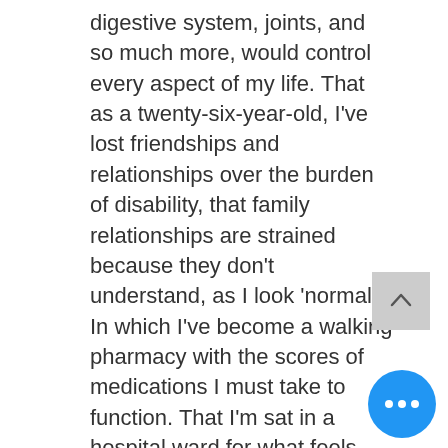digestive system, joints, and so much more, would control every aspect of my life. That as a twenty-six-year-old, I've lost friendships and relationships over the burden of disability, that family relationships are strained because they don't understand, as I look 'normal'. In which I've become a walking pharmacy with the scores of medications I must take to function. That I'm sat in a hospital ward for what feels like the hundredth time in a year eating yet another jacket potato and beans. None of this breaks me. My disability is my driving force. My anxiety, however, is another story entirely. One of which for the first I'm about to speak openly about.